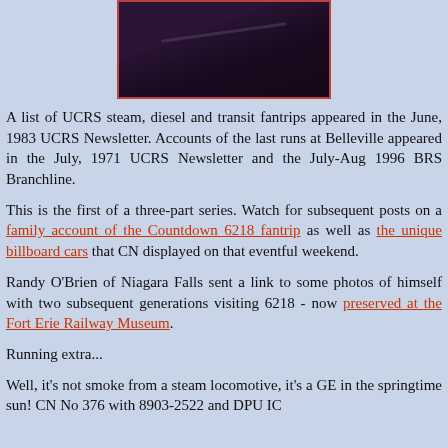[Figure (photo): Dark photograph showing a train or locomotive, partially cropped at top of page, with dark purple/blue tones.]
A list of UCRS steam, diesel and transit fantrips appeared in the June, 1983 UCRS Newsletter. Accounts of the last runs at Belleville appeared in the July, 1971 UCRS Newsletter and the July-Aug 1996 BRS Branchline.
This is the first of a three-part series. Watch for subsequent posts on a family account of the Countdown 6218 fantrip as well as the unique billboard cars that CN displayed on that eventful weekend.
Randy O'Brien of Niagara Falls sent a link to some photos of himself with two subsequent generations visiting 6218 - now preserved at the Fort Erie Railway Museum.
Running extra...
Well, it's not smoke from a steam locomotive, it's a GE in the springtime sun! CN No 376 with 8903-2522 and DPU IC